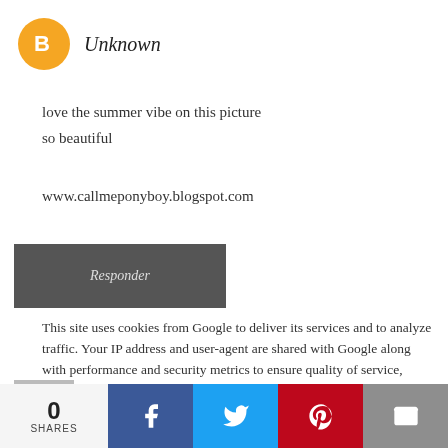[Figure (logo): Blogger orange circle icon with white 'B' letter]
Unknown
love the summer vibe on this picture
so beautiful
www.callmeponyboy.blogspot.com
[Figure (screenshot): Dark grey Responder (Reply) button]
This site uses cookies from Google to deliver its services and to analyze traffic. Your IP address and user-agent are shared with Google along with performance and security metrics to ensure quality of service, generate usage statistics, and to detect and address abuse.
Que fotos lindas :)
0 SHARES | Facebook | Twitter | Pinterest | Email